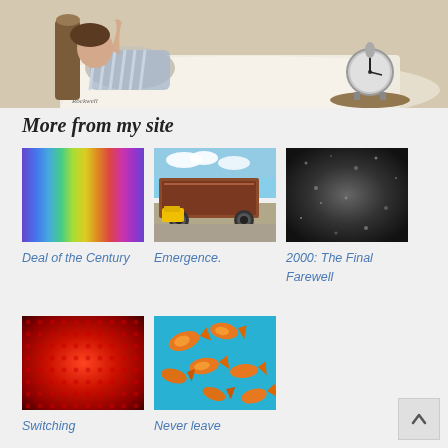[Figure (illustration): Illustration of a person lying in bed in a white/blue outfit, with a clock on a tray nearby. Painted artistic style with warm tones.]
More from my site
[Figure (photo): Rainbow spectrum gradient image]
Deal of the Century
[Figure (photo): Photo of a rusty train car with a yellow vehicle visible]
Emergence.
[Figure (photo): Dark textured surface, nearly black]
2000: The Final Farewell
[Figure (photo): Red glowing background with dot/grid pattern]
Switching
[Figure (photo): Orange goldfish against a teal/blue background]
Never leave